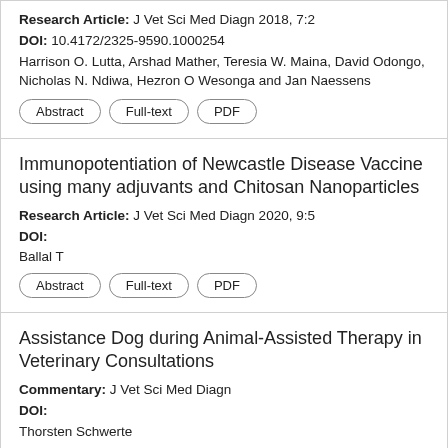Research Article: J Vet Sci Med Diagn 2018, 7:2
DOI: 10.4172/2325-9590.1000254
Harrison O. Lutta, Arshad Mather, Teresia W. Maina, David Odongo, Nicholas N. Ndiwa, Hezron O Wesonga and Jan Naessens
Immunopotentiation of Newcastle Disease Vaccine using many adjuvants and Chitosan Nanoparticles
Research Article: J Vet Sci Med Diagn 2020, 9:5
DOI:
Ballal T
Assistance Dog during Animal-Assisted Therapy in Veterinary Consultations
Commentary: J Vet Sci Med Diagn
DOI:
Thorsten Schwerte